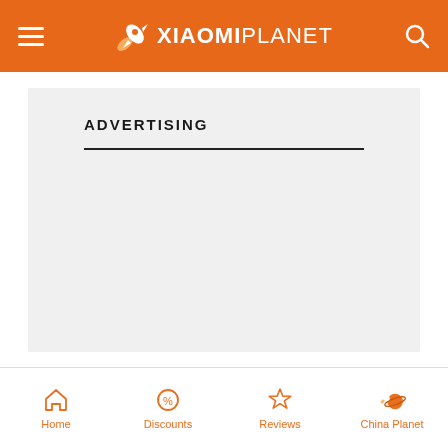XIAOMIPLANET
ADVERTISING
[Figure (other): Empty advertising placeholder area with light gray background]
Home  Discounts  Reviews  China Planet